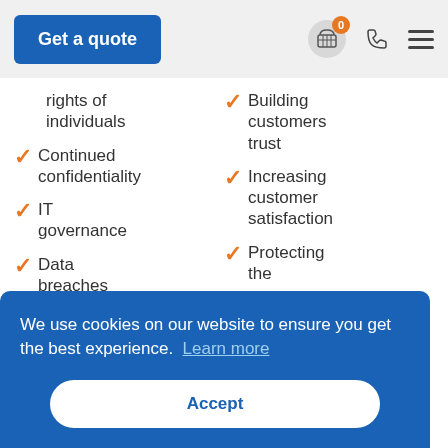Get a quote | 0 | (phone icon) | (menu icon)
rights of individuals
Building customers trust
Continued confidentiality
Increasing customer satisfaction
IT governance
Protecting the
Data breaches
We use cookies on our website to ensure you get the best experience. Learn more
Accept